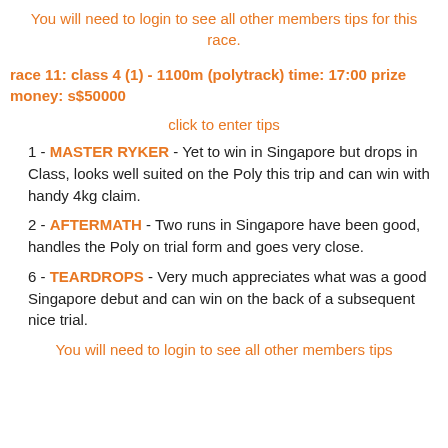You will need to login to see all other members tips for this race.
race 11: class 4 (1) - 1100m (polytrack) time: 17:00 prize money: s$50000
click to enter tips
1 - MASTER RYKER - Yet to win in Singapore but drops in Class, looks well suited on the Poly this trip and can win with handy 4kg claim.
2 - AFTERMATH - Two runs in Singapore have been good, handles the Poly on trial form and goes very close.
6 - TEARDROPS - Very much appreciates what was a good Singapore debut and can win on the back of a subsequent nice trial.
You will need to login to see all other members tips